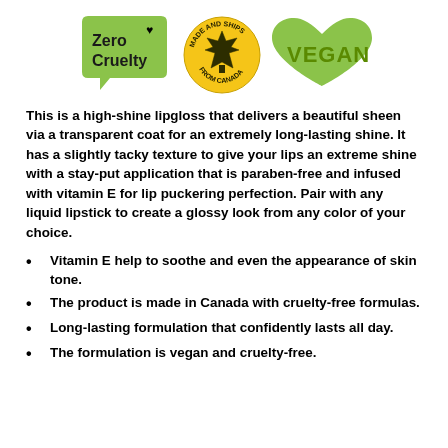[Figure (logo): Three logos side by side: Zero Cruelty green speech bubble badge, Made and Ships From Canada circular gold badge with maple leaf, and Vegan green heart badge]
This is a high-shine lipgloss that delivers a beautiful sheen via a transparent coat for an extremely long-lasting shine. It has a slightly tacky texture to give your lips an extreme shine with a stay-put application that is paraben-free and infused with vitamin E for lip puckering perfection. Pair with any liquid lipstick to create a glossy look from any color of your choice.
Vitamin E help to soothe and even the appearance of skin tone.
The product is made in Canada with cruelty-free formulas.
Long-lasting formulation that confidently lasts all day.
The formulation is vegan and cruelty-free.